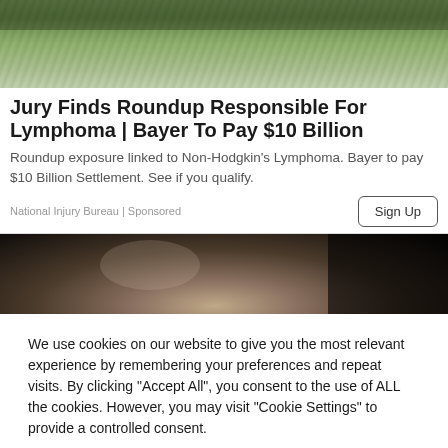[Figure (photo): Outdoor scene with green vegetation and grass, showing legs/boots of a person walking in a field]
Jury Finds Roundup Responsible For Lymphoma | Bayer To Pay $10 Billion
Roundup exposure linked to Non-Hodgkin's Lymphoma. Bayer to pay $10 Billion Settlement. See if you qualify.
National Injury Bureau | Sponsored
[Figure (photo): Close-up partial face photo, dark background]
We use cookies on our website to give you the most relevant experience by remembering your preferences and repeat visits. By clicking "Accept All", you consent to the use of ALL the cookies. However, you may visit "Cookie Settings" to provide a controlled consent.